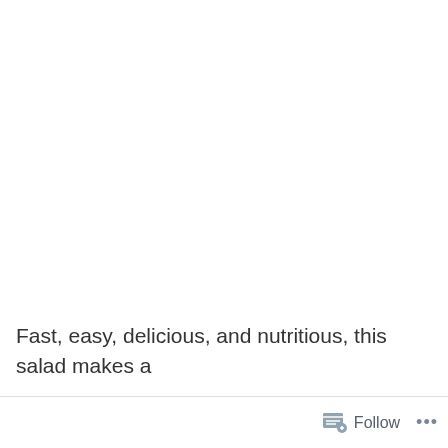[Figure (photo): Large white/blank area taking up the top portion of the page, likely a food photo (salad) that is not visible in this crop.]
Fast, easy, delicious, and nutritious, this salad makes a
Follow  •••